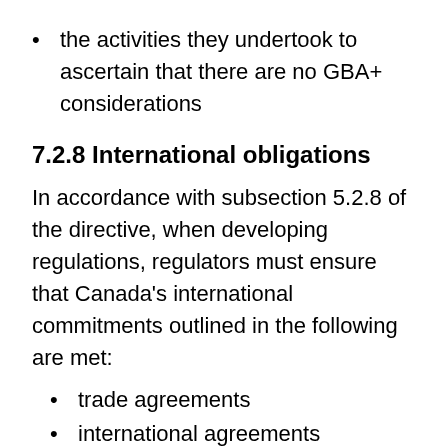the activities they undertook to ascertain that there are no GBA+ considerations
7.2.8 International obligations
In accordance with subsection 5.2.8 of the directive, when developing regulations, regulators must ensure that Canada's international commitments outlined in the following are met:
trade agreements
international agreements
other mechanisms
Regulators should consult with the internal